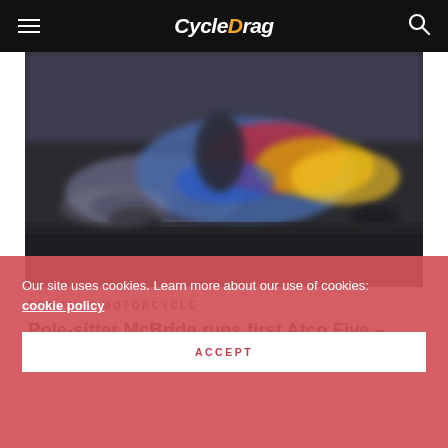CycleDrag
[Figure (photo): Blurry action photo of a top fuel motorcycle drag racing on a track, colorful bike with blue, red, and yellow livery visible]
TOP FUEL MOTORCYCLE
Pole-sitter McBride runs first Atco Five – Gast and Stoll also No. 1
Our site uses cookies. Learn more about our use of cookies: cookie policy
ACCEPT